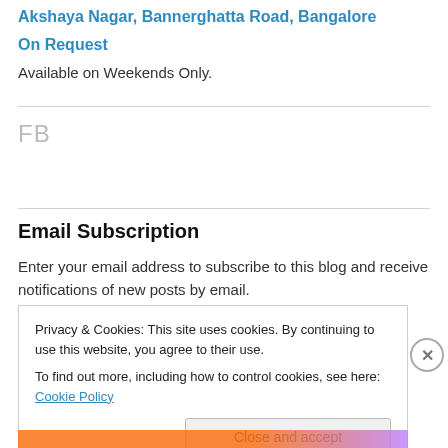Akshaya Nagar, Bannerghatta Road, Bangalore
On Request
Available on Weekends Only.
FB
Email Subscription
Enter your email address to subscribe to this blog and receive notifications of new posts by email.
Privacy & Cookies: This site uses cookies. By continuing to use this website, you agree to their use.
To find out more, including how to control cookies, see here: Cookie Policy
Close and accept